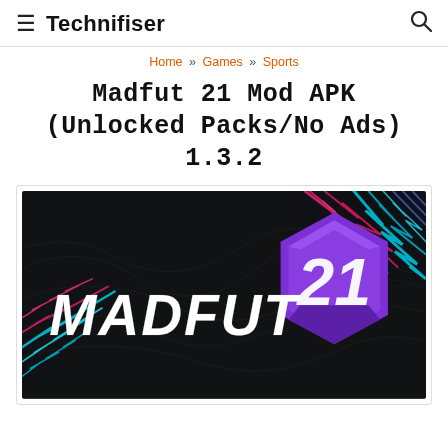≡ Technifiser 🔍
Home » Games » Sports
Madfut 21 Mod APK (Unlocked Packs/No Ads) 1.3.2
[Figure (illustration): Madfut 21 game promotional banner with dark background, purple hexagonal badge with '21', and MADFUT text in white italic font with colorful lightning bolt accents]